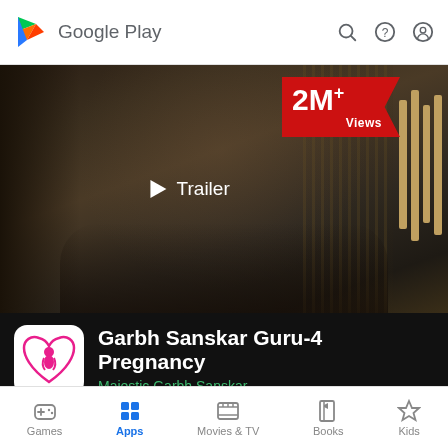Google Play
[Figure (screenshot): Google Play store listing for Garbh Sanskar Guru-4 Pregnancy app. Shows a trailer thumbnail with two people on a couch, a red '2M+ Views' badge in the top right, and a Trailer play button in the center.]
Garbh Sanskar Guru-4 Pregnancy
Majestic Garbh Sanskar
Games  Apps  Movies & TV  Books  Kids